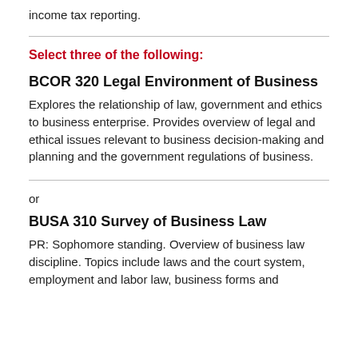income tax reporting.
Select three of the following:
BCOR 320 Legal Environment of Business
Explores the relationship of law, government and ethics to business enterprise. Provides overview of legal and ethical issues relevant to business decision-making and planning and the government regulations of business.
or
BUSA 310 Survey of Business Law
PR: Sophomore standing. Overview of business law discipline. Topics include laws and the court system, employment and labor law, business forms and